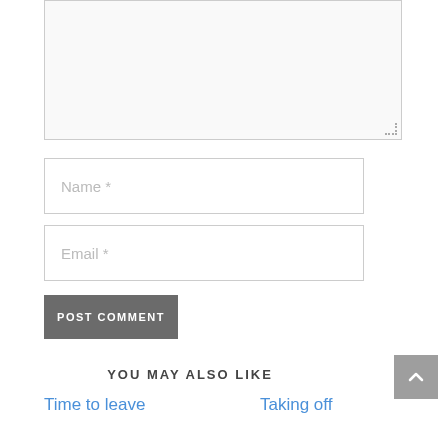[Figure (screenshot): Comment form textarea (empty, resizable)]
Name *
Email *
POST COMMENT
YOU MAY ALSO LIKE
Time to leave
Taking off